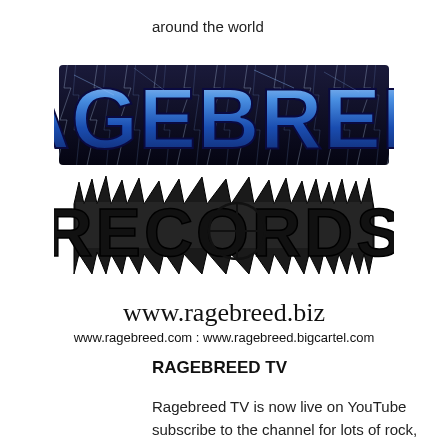around the world
[Figure (logo): Ragebreed Records logo - 'RAGEBREED' in blue lightning-style text above 'RECORDS' in dark spiky/thorny decorative lettering]
www.ragebreed.biz
www.ragebreed.com : www.ragebreed.bigcartel.com
RAGEBREED TV
Ragebreed TV is now live on YouTube subscribe to the channel for lots of rock,